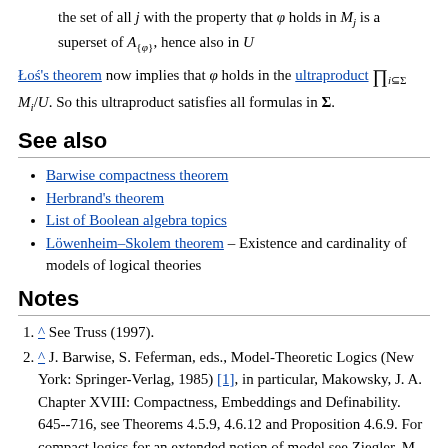the set of all j with the property that φ holds in M_j is a superset of A_{φ}, hence also in U
Łoś's theorem now implies that φ holds in the ultraproduct ∏_{i⊆Σ} M_i/U. So this ultraproduct satisfies all formulas in Σ.
See also
Barwise compactness theorem
Herbrand's theorem
List of Boolean algebra topics
Löwenheim–Skolem theorem – Existence and cardinality of models of logical theories
Notes
^ See Truss (1997).
^ J. Barwise, S. Feferman, eds., Model-Theoretic Logics (New York: Springer-Verlag, 1985) [1], in particular, Makowsky, J. A. Chapter XVIII: Compactness, Embeddings and Definability. 645--716, see Theorems 4.5.9, 4.6.12 and Proposition 4.6.9. For compact logics for an extended notion of model see Ziegler, M. Chapter XV: Topological Model Theory. 557–577. For logics without the relativization